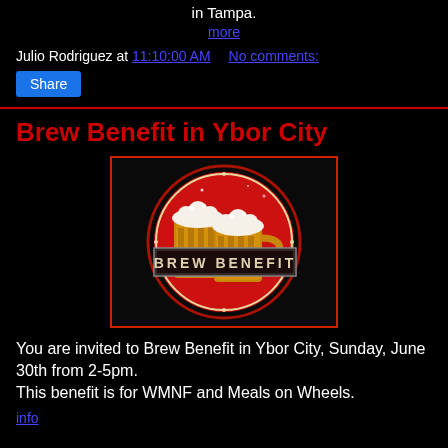in Tampa.
more
Julio Rodriguez at 11:10:00 AM   No comments:
Share
Brew Benefit in Ybor City
[Figure (logo): Brew Benefit logo: red circle with two golden beer mugs and a rectangular banner reading BREW BENEFIT on a black background]
You are invited to Brew Benefit in Ybor City, Sunday, June 30th from 2-5pm.
This benefit is for WMNF and Meals on Wheels.
info